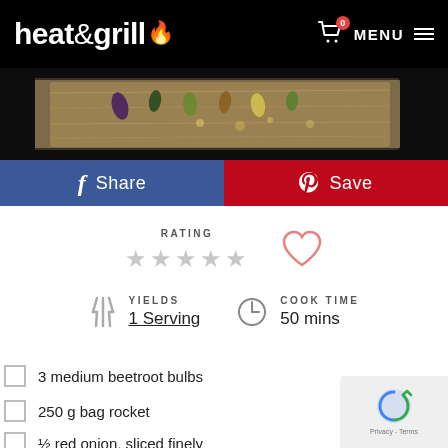heat&grill — MENU, cart icon
[Figure (photo): Food photo on wooden board, dark background with colorful pods/seeds]
Share | Save
RATING ★★★★★
YIELDS 1 Serving | COOK TIME 50 mins
3 medium beetroot bulbs
250 g bag rocket
½ red onion, sliced finely